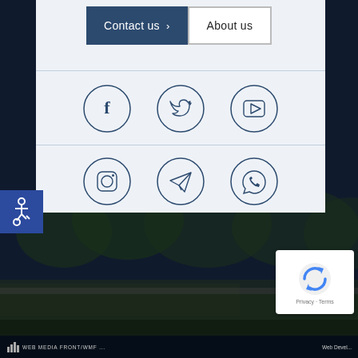[Figure (screenshot): Navigation buttons: 'Contact us' (dark blue with arrow) and 'About us' (white with border)]
[Figure (illustration): Accessibility wheelchair icon in blue square]
[Figure (infographic): Six social media icon circles in two rows: Facebook, Twitter, YouTube (top row); Instagram, Telegram, WhatsApp (bottom row)]
[Figure (screenshot): Google reCAPTCHA badge with logo, Privacy and Terms links]
[Figure (photo): Dark landscape background photo with trees and grass fields, dark overlay]
WEB MEDIA FRONT/WMF ...